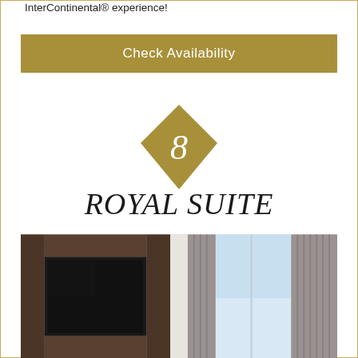InterContinental® experience!
Check Availability
[Figure (illustration): Gold diamond shape with number 8 inside]
ROYAL SUITE
[Figure (photo): Hotel room interior showing dark wood TV cabinet with flat screen TV on left, and floor-to-ceiling windows with grey curtains on right]